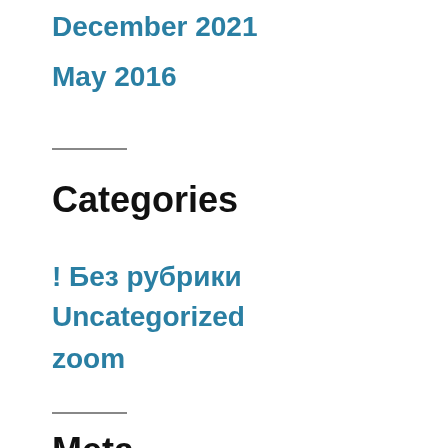December 2021
May 2016
Categories
! Без рубрики
Uncategorized
zoom
Meta